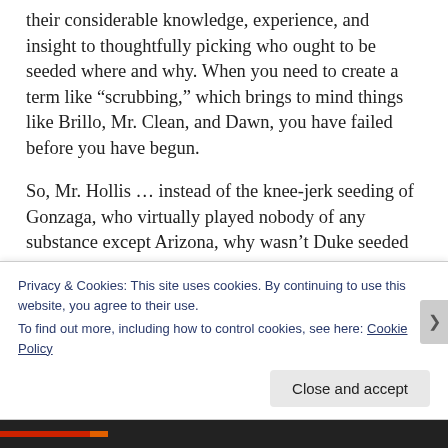their considerable knowledge, experience, and insight to thoughtfully picking who ought to be seeded where and why. When you need to create a term like “scrubbing,” which brings to mind things like Brillo, Mr. Clean, and Dawn, you have failed before you have begun.
So, Mr. Hollis … instead of the knee-jerk seeding of Gonzaga, who virtually played nobody of any substance except Arizona, why wasn’t Duke seeded #1 ???  Sure, North Carolina won the Regular Season, but Duke beat them twice !!!  Sure, Duke had a difficult, injury ridden season that included their Head Coach, but they still survived to win their Championship Tournament in the toughest – as reflected by
Privacy & Cookies: This site uses cookies. By continuing to use this website, you agree to their use.
To find out more, including how to control cookies, see here: Cookie Policy
Close and accept